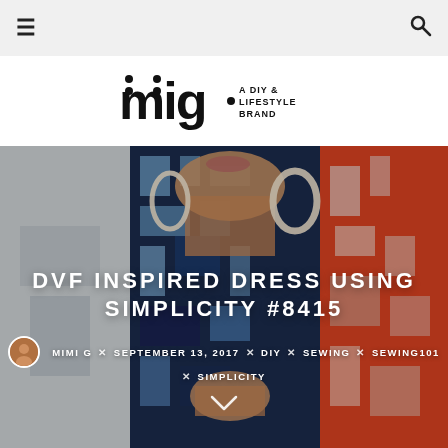Navigation bar with hamburger menu and search icon
[Figure (logo): mig logo — stylized letters 'mig' in bold black with dot pattern, followed by 'A DIY & LIFESTYLE BRAND' in small caps]
[Figure (photo): Woman wearing a geometric patterned dress with blue, white, and orange/red color blocks, large hoop earrings, outdoors with greenery in background]
DVF INSPIRED DRESS USING SIMPLICITY #8415
MIMI G × SEPTEMBER 13, 2017 × DIY × SEWING × SEWING101 × SIMPLICITY